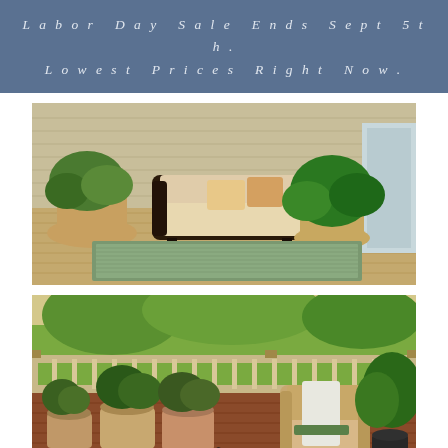Labor Day Sale Ends Sept 5th. Lowest Prices Right Now.
[Figure (photo): Outdoor deck with dark wicker loveseat, cream cushions and decorative pillows, potted plants, and a green rectangular outdoor rug on a wood deck.]
[Figure (photo): Outdoor deck with wood railing, potted flower plants, wicker chair with white blanket, dark urn planter with greenery, a small black and white dog lying on a dark striped outdoor rug on a reddish-brown wood deck.]